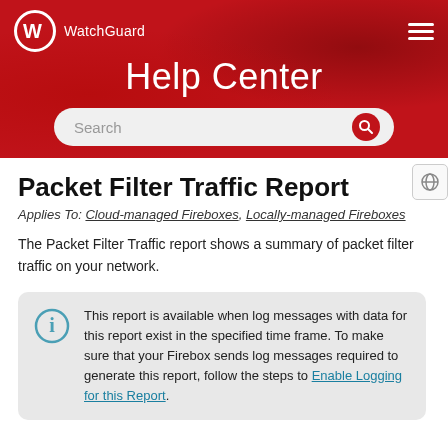[Figure (screenshot): WatchGuard Help Center banner with red background, logo, search bar, and hamburger menu]
Packet Filter Traffic Report
Applies To: Cloud-managed Fireboxes, Locally-managed Fireboxes
The Packet Filter Traffic report shows a summary of packet filter traffic on your network.
This report is available when log messages with data for this report exist in the specified time frame. To make sure that your Firebox sends log messages required to generate this report, follow the steps to Enable Logging for this Report.